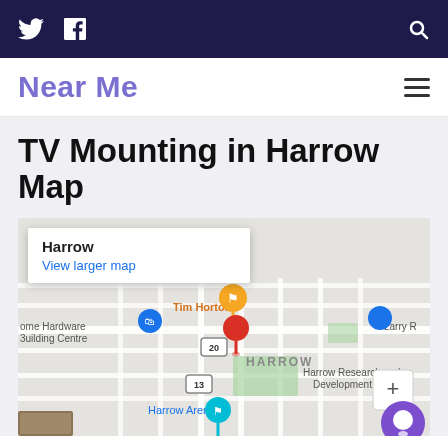Twitter | Facebook | Search
Near Me
TV Mounting in Harrow Map
[Figure (map): Google Map showing Harrow area with pins for Tim Hortons, Harrow Arena, Home Hardware Building Centre, Larry R, and Harrow Research and Development Centre. A red location pin marks the center of Harrow near route 20. Info box shows 'Harrow' and 'View larger map' link.]